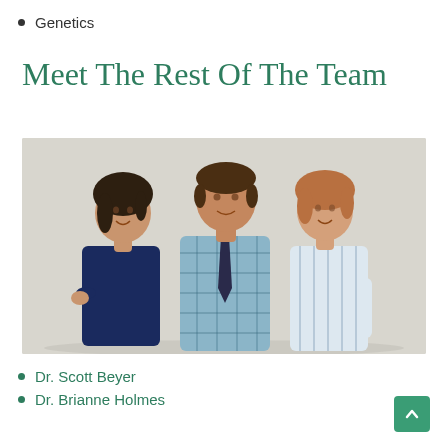Genetics
Meet The Rest Of The Team
[Figure (photo): Professional photo of three team members standing together against a light grey background. From left to right: a woman with dark hair wearing a navy top, a tall man in a plaid shirt with a tie, and a woman with blonde/red hair in a light striped shirt.]
Dr. Scott Beyer
Dr. Brianne Holmes